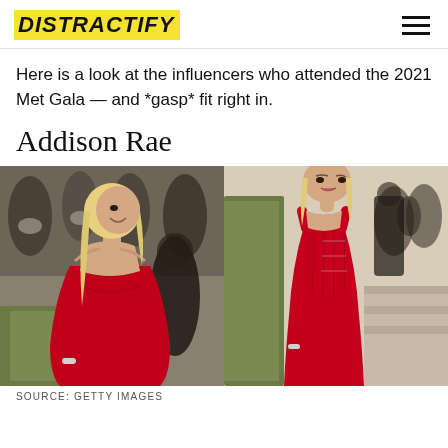DISTRACTIFY
Here is a look at the influencers who attended the 2021 Met Gala — and *gasp* fit right in.
Addison Rae
[Figure (photo): Two side-by-side photos of Addison Rae at the 2021 Met Gala. Left: close-up from behind showing her smiling over her shoulder, wearing a red dress with blonde hair. Right: full-length shot of her in a red corset-style gown on the Met Gala carpet with green hedges in background.]
SOURCE: GETTY IMAGES